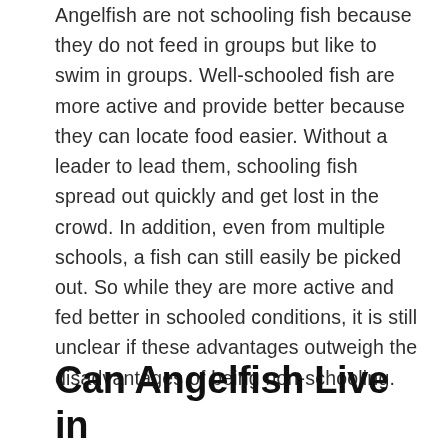Angelfish are not schooling fish because they do not feed in groups but like to swim in groups. Well-schooled fish are more active and provide better because they can locate food easier. Without a leader to lead them, schooling fish spread out quickly and get lost in the crowd. In addition, even from multiple schools, a fish can still easily be picked out. So while they are more active and fed better in schooled conditions, it is still unclear if these advantages outweigh the disadvantages of being non-schooling.
Can Angelfish Live in Schools?